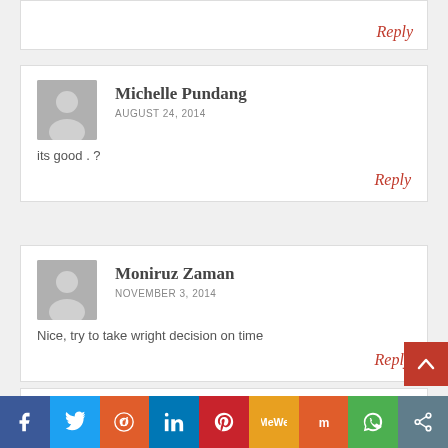Reply
Michelle Pundang
AUGUST 24, 2014
its good . ?
Reply
Moniruz Zaman
NOVEMBER 3, 2014
Nice, try to take wright decision on time
Reply
[Figure (infographic): Social sharing bar with icons: Facebook (blue), Twitter (light blue), Reddit (orange), LinkedIn (dark blue), Pinterest (red), MeWe (yellow-orange), Mix (orange-red), WhatsApp (green), Share (grey)]